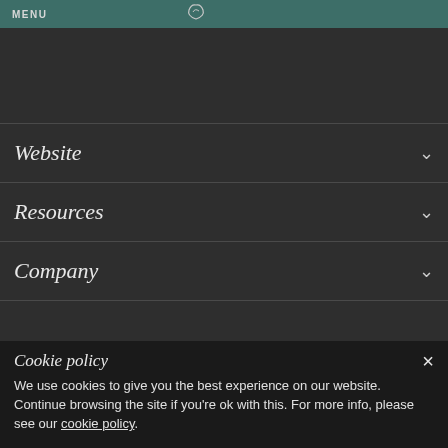MENU
Website
Resources
Company
[Figure (logo): Curly script logo/brand mark watermark in dark area]
Cookie policy
We use cookies to give you the best experience on our website. Continue browsing the site if you're ok with this. For more info, please see our cookie policy.